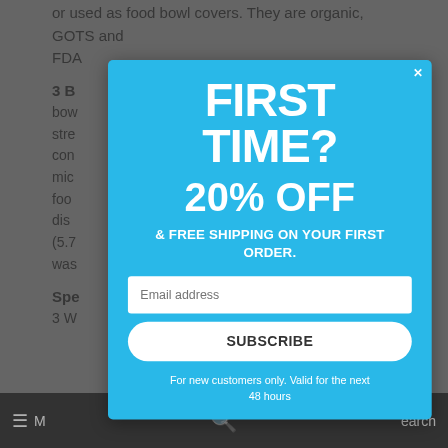or used as food bowl covers. They are organic, GOTS and FDA
3 B
bow
stre
con
mic
foo
dis
(5.7
was
Spe
3 W
[Figure (screenshot): Modal popup overlay on a webpage showing a first-time customer discount offer. Cyan/blue background with white text reading 'FIRST TIME? 20% OFF & FREE SHIPPING ON YOUR FIRST ORDER.' with an email address input field, SUBSCRIBE button, and note 'For new customers only. Valid for the next 48 hours'. A close (×) button is in the top right corner of the modal.]
≡ M   Search